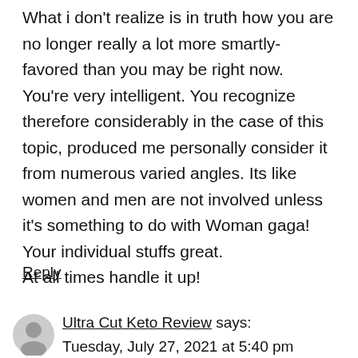What i don't realize is in truth how you are no longer really a lot more smartly-favored than you may be right now. You're very intelligent. You recognize therefore considerably in the case of this topic, produced me personally consider it from numerous varied angles. Its like women and men are not involved unless it's something to do with Woman gaga! Your individual stuffs great. At all times handle it up!
Reply
Ultra Cut Keto Review says:
Tuesday, July 27, 2021 at 5:40 pm